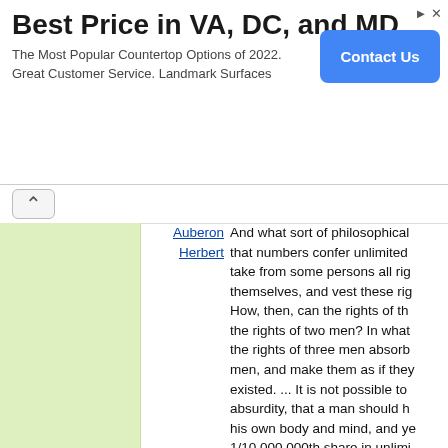[Figure (other): Advertisement banner: 'Best Price in VA, DC, and MD' - The Most Popular Countertop Options of 2022. Great Customer Service. Landmark Surfaces. With a blue Contact Us button.]
Auberon Herbert And what sort of philosophical... that numbers confer unlimited... take from some persons all rig... themselves, and vest these rig... How, then, can the rights of th... the rights of two men? In what... the rights of three men absorb... men, and make them as if they... existed. ... It is not possible to... absurdity, that a man should h... his own body and mind, and ye... 1/10,000,000th share in unlimi... other bodies and minds?
Auberon Herbert Force and reason -- which last... the moral act -- are at the two... The one who compels his neig... not as a being with reason, bu... whom reason is not.
Edward Herman There is a system of terroristic... terror network—that has sprea... Latin America and elsewhere d... several decades, and which is... the corporate interest and sust...